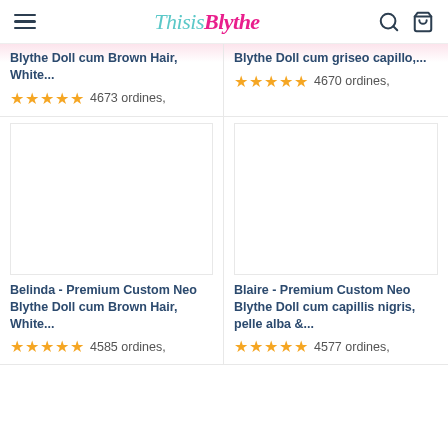ThisisBlythe
Blythe Doll cum Brown Hair, White... 4673 ordines,
Blythe Doll cum griseo capillo,... 4670 ordines,
[Figure (photo): Product image placeholder for Belinda doll]
[Figure (photo): Product image placeholder for Blaire doll]
Belinda - Premium Custom Neo Blythe Doll cum Brown Hair, White... 4585 ordines,
Blaire - Premium Custom Neo Blythe Doll cum capillis nigris, pelle alba &... 4577 ordines,